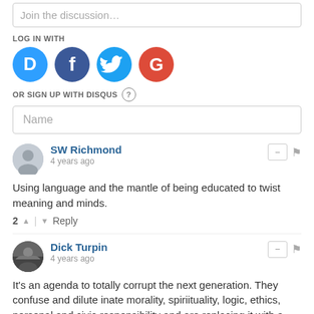Join the discussion…
LOG IN WITH
[Figure (infographic): Social login icons: Disqus (blue), Facebook (dark blue), Twitter (cyan), Google (red)]
OR SIGN UP WITH DISQUS ?
Name
SW Richmond
4 years ago
Using language and the mantle of being educated to twist meaning and minds.
2 ↑ | ↓ Reply
Dick Turpin
4 years ago
It's an agenda to totally corrupt the next generation. They confuse and dilute inate morality, spiriituality, logic, ethics, personal and civic responsibility and are replacing it with a sedated, confused and psychopathic populace, a populace